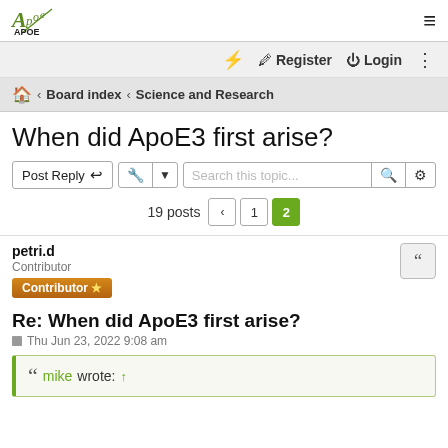APOE [logo] — hamburger menu
⚡ Register Login ⋮
🏠 ‹ Board index ‹ Science and Research
When did ApoE3 first arise?
Post Reply 🔧 ▼ Search this topic... 🔍 ⚙
19 posts ‹ 1 2
petri.d
Contributor
Contributor ⭐
Re: When did ApoE3 first arise?
Thu Jun 23, 2022 9:08 am
❝ mike wrote: ↑